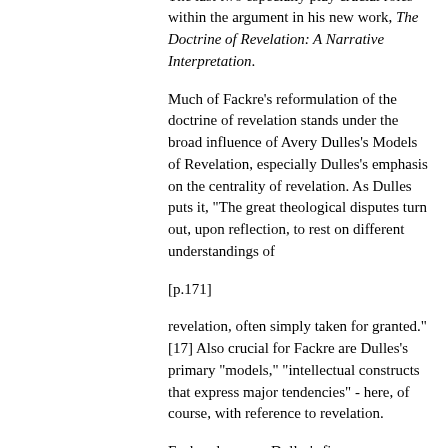especially the contemporary effects of the Noachic covenant and narrative theology. The last two especially play crucial roles within the argument in his new work, The Doctrine of Revelation: A Narrative Interpretation.
Much of Fackre's reformulation of the doctrine of revelation stands under the broad influence of Avery Dulles's Models of Revelation, especially Dulles's emphasis on the centrality of revelation. As Dulles puts it, "The great theological disputes turn out, upon reflection, to rest on different understandings of
[p.171]
revelation, often simply taken for granted." [17] Also crucial for Fackre are Dulles's primary "models," "intellectual constructs that express major tendencies" - here, of course, with reference to revelation.
Fackre draws on Dulles's five phenomenological models of revelation and transposes them into his four "phases of revelation," which he sets in terms of his narrative approach and then exemplifies in